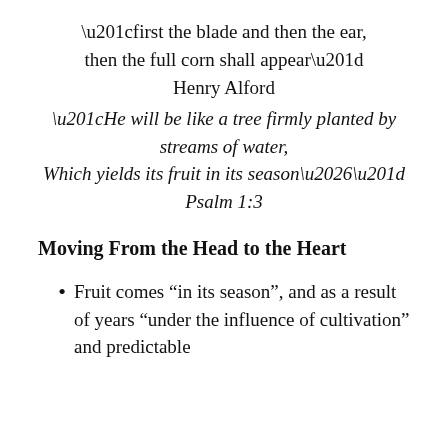“first the blade and then the ear, then the full corn shall appear”
Henry Alford
“He will be like a tree firmly planted by streams of water, Which yields its fruit in its season…” Psalm 1:3
Moving From the Head to the Heart
Fruit comes “in its season”, and as a result of years “under the influence of cultivation” and predictable